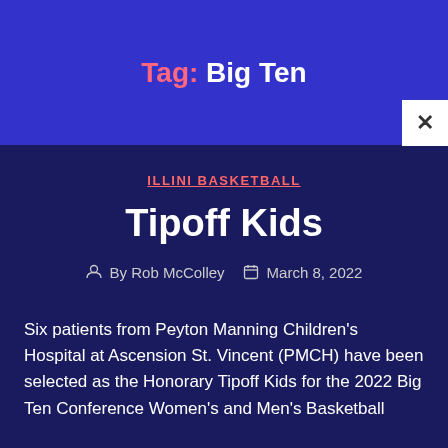Tag: Big Ten
ILLINI BASKETBALL
Tipoff Kids
By Rob McColley   March 8, 2022
Six patients from Peyton Manning Children's Hospital at Ascension St. Vincent (PMCH) have been selected as the Honorary Tipoff Kids for the 2022 Big Ten Conference Women's and Men's Basketball...